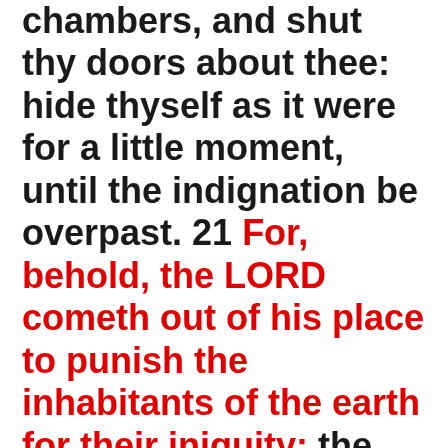chambers, and shut thy doors about thee: hide thyself as it were for a little moment, until the indignation be overpast. 21 For, behold, the LORD cometh out of his place to punish the inhabitants of the earth for their iniquity: the earth also shall disclose her blood